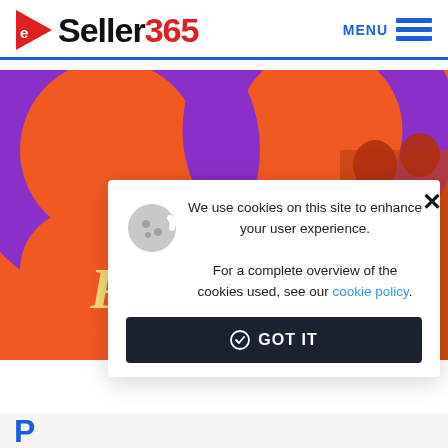eSeller365  MENU
[Figure (illustration): PoshFest promotional banner with orange and purple swirl design and people in background]
We use cookies on this site to enhance your user experience. For a complete overview of the cookies used, see our cookie policy.
GOT IT